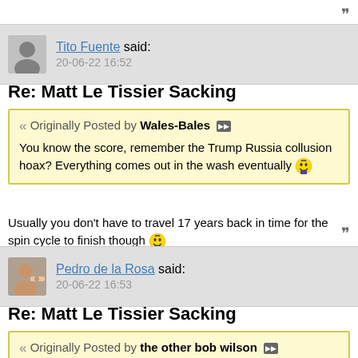Tito Fuente said: 20-06-22 16:52
Re: Matt Le Tissier Sacking
Originally Posted by Wales-Bales
You know the score, remember the Trump Russia collusion hoax? Everything comes out in the wash eventually 😂
Usually you don't have to travel 17 years back in time for the spin cycle to finish though 😂
Pedro de la Rosa said: 20-06-22 16:53
Re: Matt Le Tissier Sacking
Originally Posted by the other bob wilson